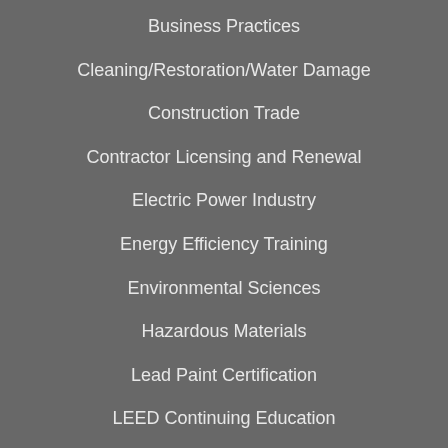Business Practices
Cleaning/Restoration/Water Damage
Construction Trade
Contractor Licensing and Renewal
Electric Power Industry
Energy Efficiency Training
Environmental Sciences
Hazardous Materials
Lead Paint Certification
LEED Continuing Education
LEED Exam Prep
Healthy Tech (partial)